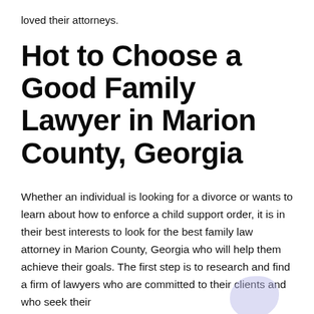loved their attorneys.
Hot to Choose a Good Family Lawyer in Marion County, Georgia
Whether an individual is looking for a divorce or wants to learn about how to enforce a child support order, it is in their best interests to look for the best family law attorney in Marion County, Georgia who will help them achieve their goals. The first step is to research and find a firm of lawyers who are committed to their clients and who seek their